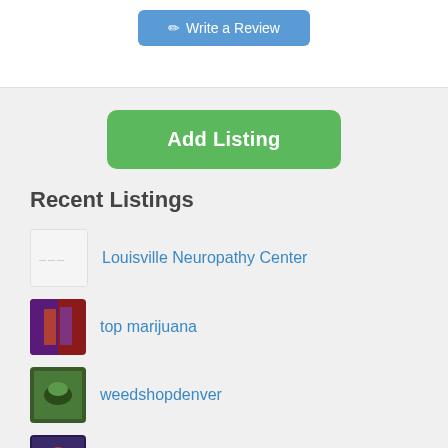[Figure (screenshot): Write a Review button (blue, rounded) at top of page]
[Figure (screenshot): Add Listing button (green, rounded, large)]
Recent Listings
Louisville Neuropathy Center
top marijuana
weedshopdenver
Lean Six Sigma Training
cannabisshopsupply